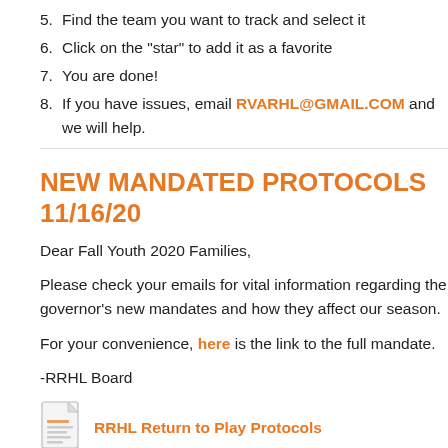5. Find the team you want to track and select it
6. Click on the "star" to add it as a favorite
7. You are done!
8. If you have issues, email RVARHL@GMAIL.COM and we will help.
NEW MANDATED PROTOCOLS 11/16/20
Dear Fall Youth 2020 Families,
Please check your emails for vital information regarding the governor's new mandates and how they affect our season.
For your convenience, here is the link to the full mandate.
-RRHL Board
[Figure (other): Document icon for RRHL Return to Play Protocols attachment]
RRHL Return to Play Protocols